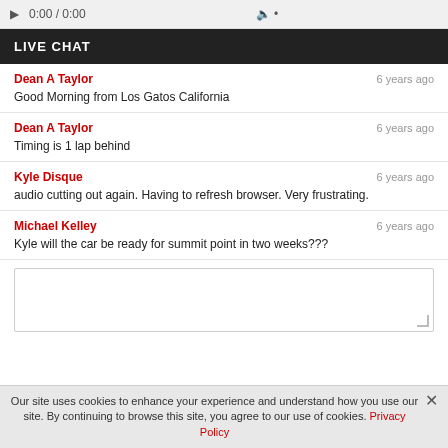LIVE CHAT
Dean A Taylor   6 years ago
Good Morning from Los Gatos California
Dean A Taylor   6 years ago
Timing is 1 lap behind
Kyle Disque   6 years ago
audio cutting out again. Having to refresh browser. Very frustrating.
Michael Kelley   6 years ago
Kyle will the car be ready for summit point in two weeks???
Our site uses cookies to enhance your experience and understand how you use our site. By continuing to browse this site, you agree to our use of cookies. Privacy Policy